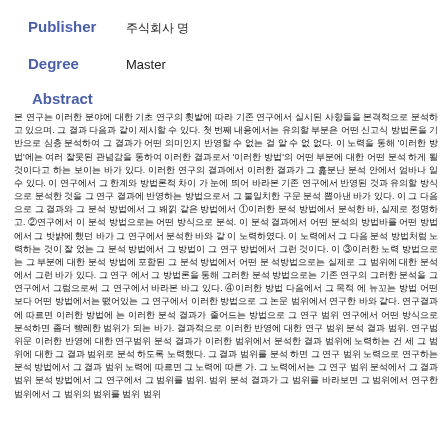Publisher   출판사명 텍스트
Degree   Master
Abstract
본문 내용 텍스트 여러 줄 한국어 초록 내용...